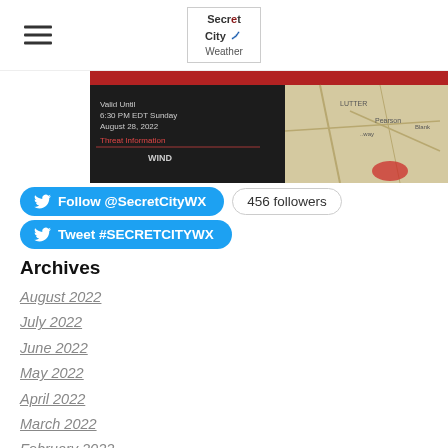Secret City Weather (logo with hamburger menu)
[Figure (screenshot): Partial screenshot of a weather alert card showing 'Valid Until 6:30 PM EDT Sunday August 28, 2022', 'Threat Information', 'WIND' text with a map on the right side.]
Follow @SecretCityWX  456 followers
Tweet #SECRETCITYWX
Archives
August 2022
July 2022
June 2022
May 2022
April 2022
March 2022
February 2022
January 2022
December 2021
November 2021
October 2021